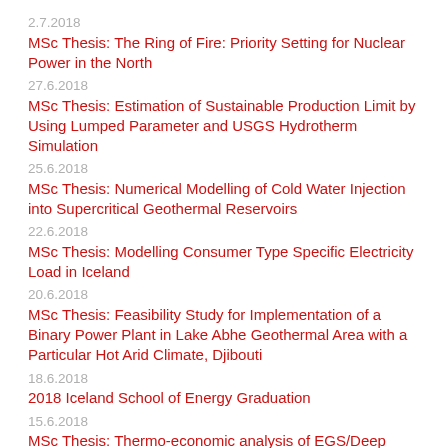2.7.2018
MSc Thesis: The Ring of Fire: Priority Setting for Nuclear Power in the North
27.6.2018
MSc Thesis: Estimation of Sustainable Production Limit by Using Lumped Parameter and USGS Hydrotherm Simulation
25.6.2018
MSc Thesis: Numerical Modelling of Cold Water Injection into Supercritical Geothermal Reservoirs
22.6.2018
MSc Thesis: Modelling Consumer Type Specific Electricity Load in Iceland
20.6.2018
MSc Thesis: Feasibility Study for Implementation of a Binary Power Plant in Lake Abhe Geothermal Area with a Particular Hot Arid Climate, Djibouti
18.6.2018
2018 Iceland School of Energy Graduation
15.6.2018
MSc Thesis: Thermo-economic analysis of EGS/Deep